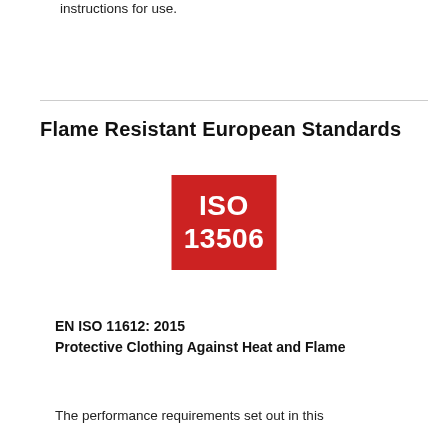instructions for use.
Flame Resistant European Standards
[Figure (logo): Red rectangular badge with white bold text reading 'ISO 13506']
EN ISO 11612: 2015
Protective Clothing Against Heat and Flame
The performance requirements set out in this